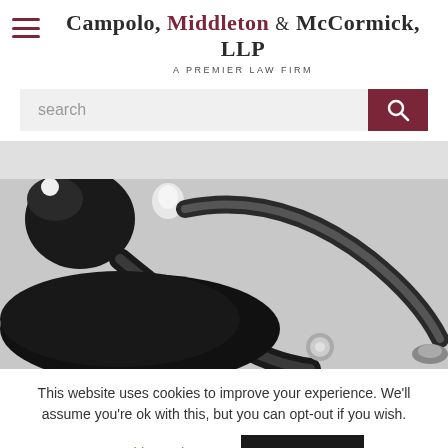[Figure (logo): Campolo, Middleton & McCormick, LLP - A Premier Law Firm logo with hamburger menu icon]
[Figure (screenshot): Search bar with text input field and dark red search button with magnifying glass icon]
[Figure (photo): Close-up photograph of a stethoscope and blood pressure cuff on white background]
This website uses cookies to improve your experience. We'll assume you're ok with this, but you can opt-out if you wish.
Cookie settings   ACCEPT